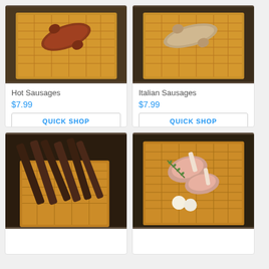[Figure (photo): Hot sausages on a wooden cutting board, viewed from above]
Hot Sausages
$7.99
QUICK SHOP
[Figure (photo): Italian sausages on a wooden cutting board, viewed from above]
Italian Sausages
$7.99
QUICK SHOP
[Figure (photo): Strips of beef jerky on a wooden cutting board, viewed from above]
[Figure (photo): Lamb chops with rosemary and garlic on a wooden cutting board, viewed from above]